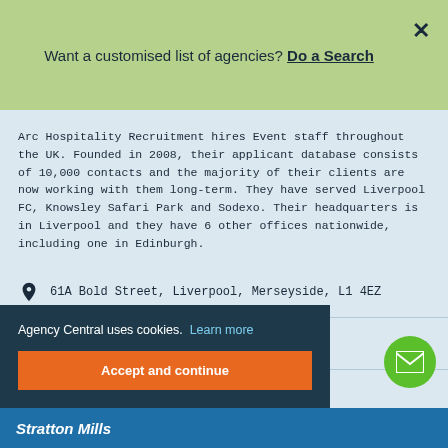Want a customised list of agencies? Do a Search
Arc Hospitality Recruitment hires Event staff throughout the UK. Founded in 2008, their applicant database consists of 10,000 contacts and the majority of their clients are now working with them long-term. They have served Liverpool FC, Knowsley Safari Park and Sodexo. Their headquarters is in Liverpool and they have 6 other offices nationwide, including one in Edinburgh.
61A Bold Street, Liverpool, Merseyside, L1 4EZ
Display number
Agency Central uses cookies. Learn more
Accept and continue
Stratton Mills